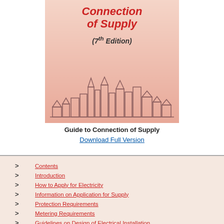[Figure (illustration): Book cover with gradient background (light pink to salmon), title 'Connection of Supply' in bold red italic, '(7th Edition)' subtitle, and a city skyline outline drawing at the bottom]
Guide to Connection of Supply
Download Full Version
Contents
Introduction
How to Apply for Electricity
Information on Application for Supply
Protection Requirements
Metering Requirements
Guidelines on Design of Electrical Installation